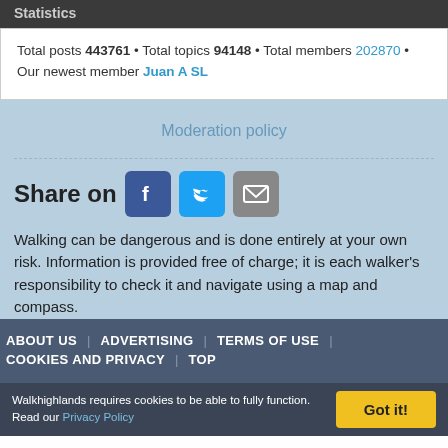Statistics
Total posts 443761 • Total topics 94148 • Total members 202870 • Our newest member Juan A SL
Moderation policy
Share on [Facebook] [Twitter] [Email]
Walking can be dangerous and is done entirely at your own risk. Information is provided free of charge; it is each walker's responsibility to check it and navigate using a map and compass.
ABOUT US | ADVERTISING | TERMS OF USE | COOKIES AND PRIVACY | TOP
Walkhighlands requires cookies to be able to fully function. Read our Privacy Policy  Got it!